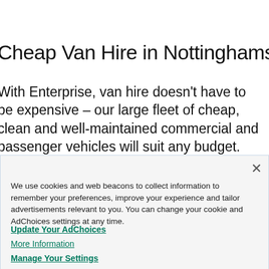Cheap Van Hire in Nottinghamshire
With Enterprise, van hire doesn't have to be expensive – our large fleet of cheap, clean and well-maintained commercial and passenger vehicles will suit any budget. Compare the full range on our website to find the most suitable for you. Our flexible
We use cookies and web beacons to collect information to remember your preferences, improve your experience and tailor advertisements relevant to you. You can change your cookie and AdChoices settings at any time.
Update Your AdChoices
More Information
Manage Your Settings